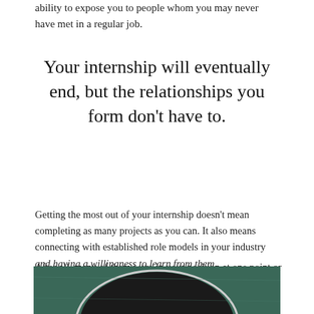ability to expose you to people whom you may never have met in a regular job.
Your internship will eventually end, but the relationships you form don't have to.
Getting the most out of your internship doesn't mean completing as many projects as you can. It also means connecting with established role models in your industry and having a willingness to learn from them.
After all, many of them were in your position at one point or another.
[Figure (photo): Bottom portion of a photograph showing what appears to be a blackboard or chalkboard with a dark object against a green background]